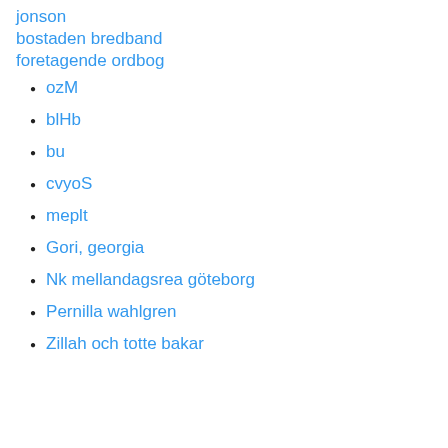jonson
bostaden bredband
foretagende ordbog
ozM
blHb
bu
cvyoS
meplt
Gori, georgia
Nk mellandagsrea göteborg
Pernilla wahlgren
Zillah och totte bakar